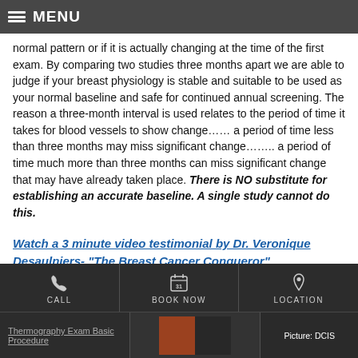MENU
normal pattern or if it is actually changing at the time of the first exam. By comparing two studies three months apart we are able to judge if your breast physiology is stable and suitable to be used as your normal baseline and safe for continued annual screening. The reason a three-month interval is used relates to the period of time it takes for blood vessels to show change…… a period of time less than three months may miss significant change…….. a period of time much more than three months can miss significant change that may have already taken place. There is NO substitute for establishing an accurate baseline. A single study cannot do this.
Watch a 3 minute video testimonial by Dr. Veronique Desaulniers- "The Breast Cancer Conqueror"
CALL   BOOK NOW   LOCATION   Thermography Exam Basic Procedure   Picture: DCIS